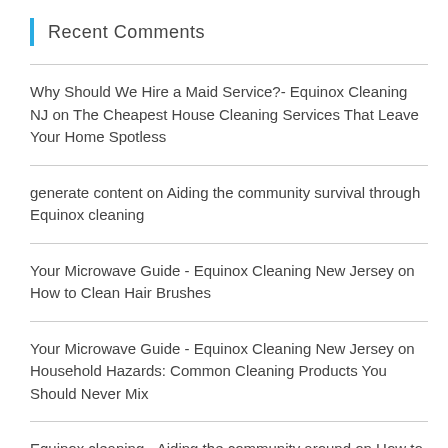Recent Comments
Why Should We Hire a Maid Service?- Equinox Cleaning NJ on The Cheapest House Cleaning Services That Leave Your Home Spotless
generate content on Aiding the community survival through Equinox cleaning
Your Microwave Guide - Equinox Cleaning New Jersey on How to Clean Hair Brushes
Your Microwave Guide - Equinox Cleaning New Jersey on Household Hazards: Common Cleaning Products You Should Never Mix
Equinox cleaning - Aiding the community around on How to keep your House Clean and avoid Nasty Flu